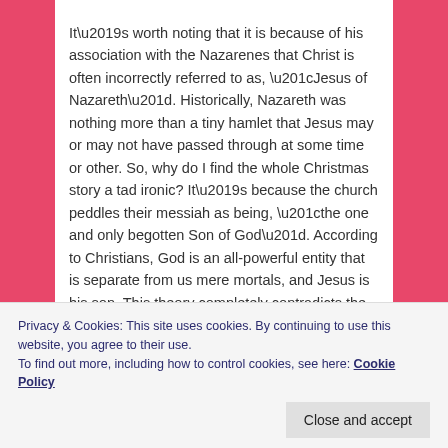It’s worth noting that it is because of his association with the Nazarenes that Christ is often incorrectly referred to as, “Jesus of Nazareth”. Historically, Nazareth was nothing more than a tiny hamlet that Jesus may or may not have passed through at some time or other. So, why do I find the whole Christmas story a tad ironic? It’s because the church peddles their messiah as being, “the one and only begotten Son of God”. According to Christians, God is an all-powerful entity that is separate from us mere mortals, and Jesus is his son. This theory completely contradicts the Buddhist teachings, amongst
Privacy & Cookies: This site uses cookies. By continuing to use this website, you agree to their use.
To find out more, including how to control cookies, see here: Cookie Policy
Close and accept
place we can go to.